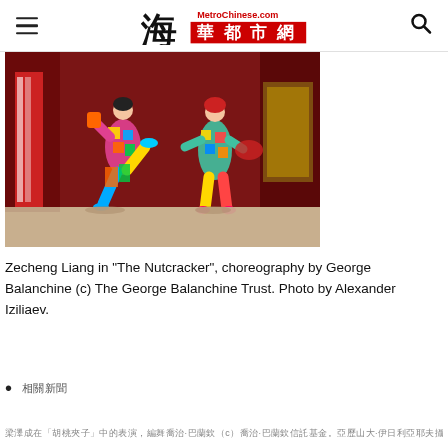MetroChinese.com 海華都市網
[Figure (photo): Two dancers in colorful patchwork costumes performing on stage, one with leg raised, in a scene from The Nutcracker ballet]
Zecheng Liang in "The Nutcracker", choreography by George Balanchine (c) The George Balanchine Trust. Photo by Alexander Iziliaev.
相關新聞
梁澤成在「胡桃夾子」中的表演，編舞喬治·巴蘭欽（c）喬治·巴蘭欽信託基金。亞歷山大·伊日利亞耶夫攝影。